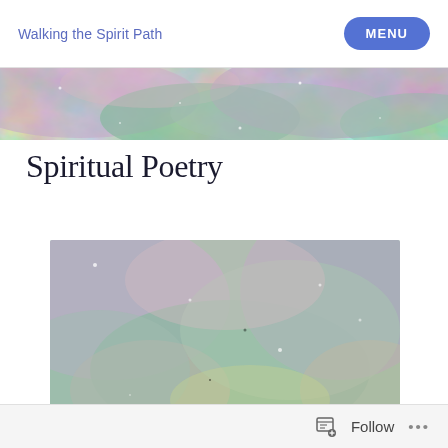Walking the Spirit Path  MENU
[Figure (photo): Colorful textured abstract banner image with swirling greens, pinks, purples, and blues resembling iridescent sand or paint]
Spiritual Poetry
[Figure (photo): Colorful textured abstract image with swirling greens, pinks, purples, blues, and yellows resembling iridescent sand or paint, serving as article featured image]
Follow  ...